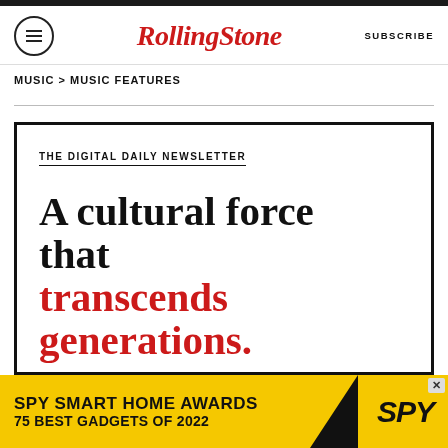RollingStone | SUBSCRIBE
MUSIC > MUSIC FEATURES
THE DIGITAL DAILY NEWSLETTER
A cultural force that transcends generations.
[Figure (infographic): Advertisement banner: SPY SMART HOME AWARDS / 75 BEST GADGETS OF 2022 on yellow background with SPY logo]